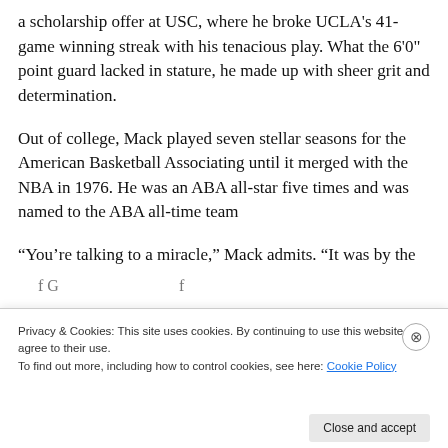a scholarship offer at USC, where he broke UCLA's 41-game winning streak with his tenacious play. What the 6'0" point guard lacked in stature, he made up with sheer grit and determination.
Out of college, Mack played seven stellar seasons for the American Basketball Associating until it merged with the NBA in 1976. He was an ABA all-star five times and was named to the ABA all-time team
“You’re talking to a miracle,” Mack admits. “It was by the
Privacy & Cookies: This site uses cookies. By continuing to use this website, you agree to their use.
To find out more, including how to control cookies, see here: Cookie Policy